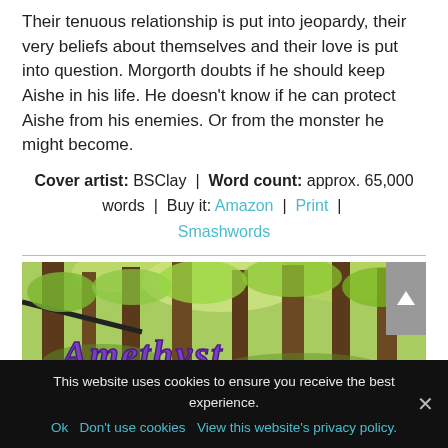Their tenuous relationship is put into jeopardy, their very beliefs about themselves and their love is put into question. Morgorth doubts if he should keep Aishe in his life. He doesn't know if he can protect Aishe from his enemies. Or from the monster he might become.
Cover artist: BSClay | Word count: approx. 65,000 words | Buy it: Amazon | Print | Smashwords
[Figure (photo): Forest scene with tall trees and green foliage, with stylized purple fantasy text 'Amethyst' overlaid at the bottom]
This website uses cookies to ensure you receive the best experience. Ok Don't use cookies View this website's privacy policy. ×